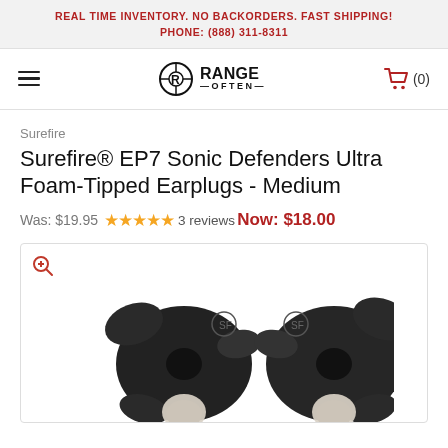REAL TIME INVENTORY. NO BACKORDERS. FAST SHIPPING!
PHONE: (888) 311-8311
[Figure (logo): Range Often logo with crosshair icon and text]
Surefire
Surefire® EP7 Sonic Defenders Ultra Foam-Tipped Earplugs - Medium
Was: $19.95 ★★★★★ 3 reviews Now: $18.00
[Figure (photo): Product photo of Surefire EP7 Sonic Defenders Ultra earplugs in black, foam-tipped, shown as a pair from above]